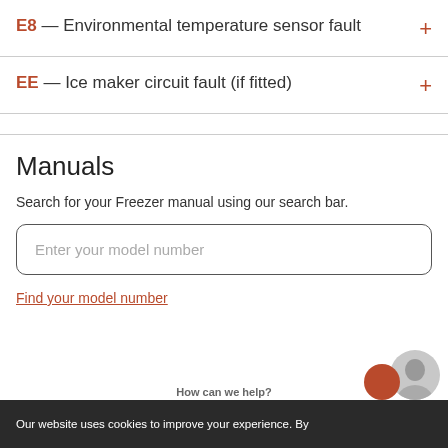E8 — Environmental temperature sensor fault
EE — Ice maker circuit fault (if fitted)
Manuals
Search for your Freezer manual using our search bar.
Enter your model number
Find your model number
Our website uses cookies to improve your experience. By